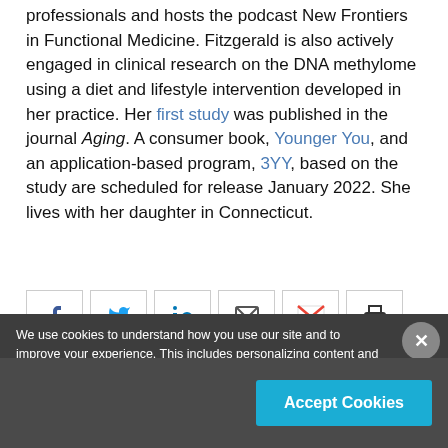professionals and hosts the podcast New Frontiers in Functional Medicine. Fitzgerald is also actively engaged in clinical research on the DNA methylome using a diet and lifestyle intervention developed in her practice. Her first study was published in the journal Aging. A consumer book, Younger You, and an application-based program, 3YY, based on the study are scheduled for release January 2022. She lives with her daughter in Connecticut.
[Figure (other): Social share buttons row: Facebook, Twitter, LinkedIn, Email, Gmail, Print]
We use cookies to understand how you use our site and to improve your experience. This includes personalizing content and advertising. By continuing to use our site, you accept our use of cookies. To learn more, please review our privacy policy.